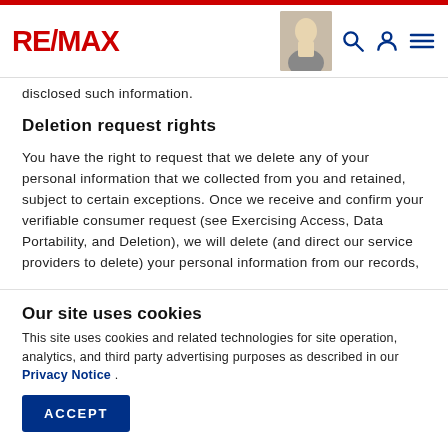RE/MAX [header with logo, agent photo, search, profile, menu icons]
disclosed such information.
Deletion request rights
You have the right to request that we delete any of your personal information that we collected from you and retained, subject to certain exceptions. Once we receive and confirm your verifiable consumer request (see Exercising Access, Data Portability, and Deletion), we will delete (and direct our service providers to delete) your personal information from our records,
Our site uses cookies
This site uses cookies and related technologies for site operation, analytics, and third party advertising purposes as described in our Privacy Notice .
ACCEPT